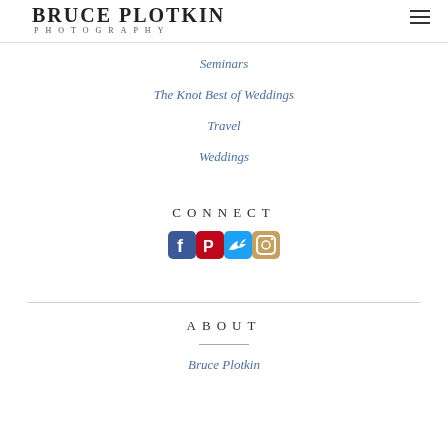BRUCE PLOTKIN PHOTOGRAPHY
Seminars
The Knot Best of Weddings
Travel
Weddings
CONNECT
[Figure (infographic): Social media icons: Facebook, Pinterest, Twitter, Instagram]
ABOUT
Bruce Plotkin